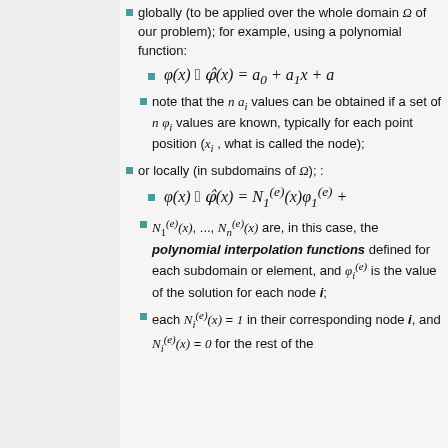globally (to be applied over the whole domain Ω of our problem); for example, using a polynomial function:
note that the n a_i values can be obtained if a set of n φ_i values are known, typically for each point position (x_i, what is called the node);
or locally (in subdomains of Ω);:
N_1^{(e)}(x), ..., N_n^{(e)}(x) are, in this case, the polynomial interpolation functions defined for each subdomain or element, and φ_i^{(e)} is the value of the solution for each node i;
each N_i^{(e)}(x) = 1 in their corresponding node i, and N_i^{(e)}(x) = 0 for the rest of the